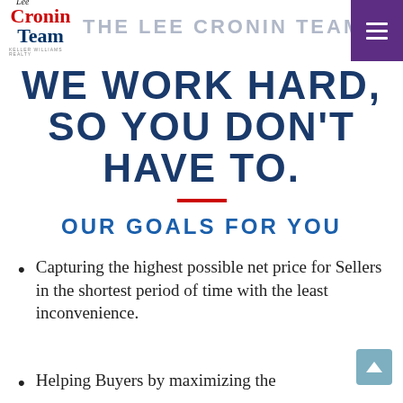Lee Cronin Team — THE LEE CRONIN TEAM
WE WORK HARD, SO YOU DON'T HAVE TO.
OUR GOALS FOR YOU
Capturing the highest possible net price for Sellers in the shortest period of time with the least inconvenience.
Helping Buyers by maximizing the value of their offer and purchase.